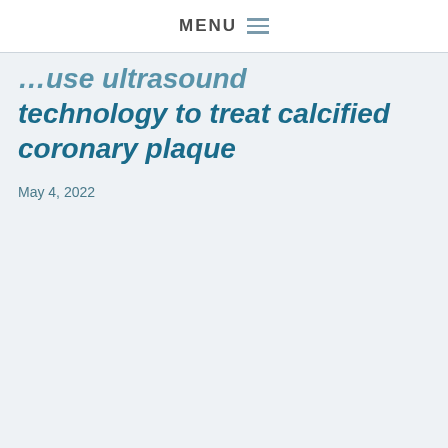MENU
technology to treat calcified coronary plaque
May 4, 2022